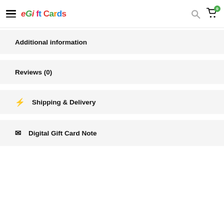eGiftCards — navigation header with hamburger menu, logo, search icon, cart icon (0)
Additional information
Reviews (0)
Shipping & Delivery
Digital Gift Card Note